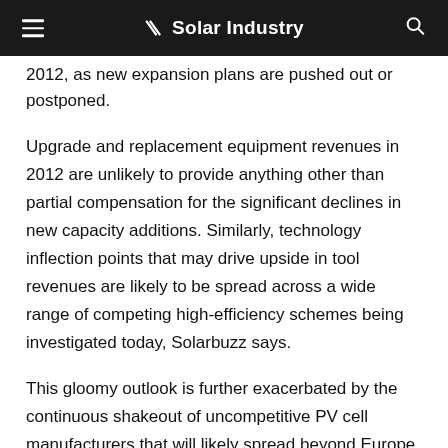Solar Industry
2012, as new expansion plans are pushed out or postponed.
Upgrade and replacement equipment revenues in 2012 are unlikely to provide anything other than partial compensation for the significant declines in new capacity additions. Similarly, technology inflection points that may drive upside in tool revenues are likely to be spread across a wide range of competing high-efficiency schemes being investigated today, Solarbuzz says.
This gloomy outlook is further exacerbated by the continuous shakeout of uncompetitive PV cell manufacturers that will likely spread beyond Europe and North America during 2012.
As a result, PV equipment suppliers – historically driven by